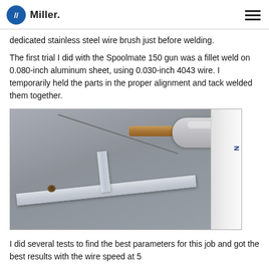Miller (logo)
dedicated stainless steel wire brush just before welding.
The first trial I did with the Spoolmate 150 gun was a fillet weld on 0.080-inch aluminum sheet, using 0.030-inch 4043 wire. I temporarily held the parts in the proper alignment and tack welded them together.
[Figure (photo): Close-up photo of a MIG welding gun tip positioned at a tack-welded aluminum T-joint (fillet weld), with aluminum sheet metal pieces on a gray surface.]
I did several tests to find the best parameters for this job and got the best results with the wire speed at 5